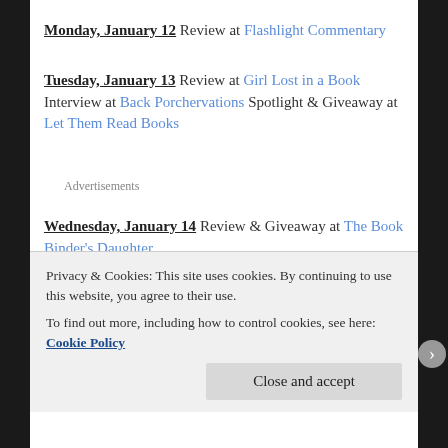Monday, January 12 Review at Flashlight Commentary
Tuesday, January 13 Review at Girl Lost in a Book Interview at Back Porchervations Spotlight & Giveaway at Let Them Read Books
Advertisements
Wednesday, January 14 Review & Giveaway at The Book Binder's Daughter
Thursday, January 15 Spotlight & Giveaway at
Privacy & Cookies: This site uses cookies. By continuing to use this website, you agree to their use.
To find out more, including how to control cookies, see here: Cookie Policy